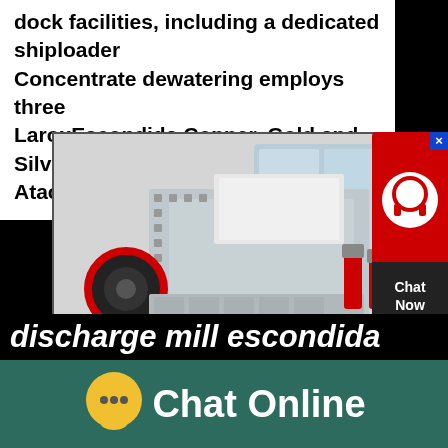dock facilities, including a dedicated shiploader Concentrate dewatering employs three LaroxEscondida Copper, Gold and Silver Mine, Atacama Desert
[Figure (photo): Industrial mining mill machine (hammer/impact mill) displayed in a warehouse or showroom setting. Large grey metal machine with red circular flywheel on left side and red hydraulic cylinders on right side.]
grat
[Figure (infographic): Chat widget popup with red background showing a headset/support icon and Chat Now label in dark box]
discharge mill escondida
[Figure (infographic): Chat Online bar with yellow speech bubble icon and Chat Online text on teal/dark green background]